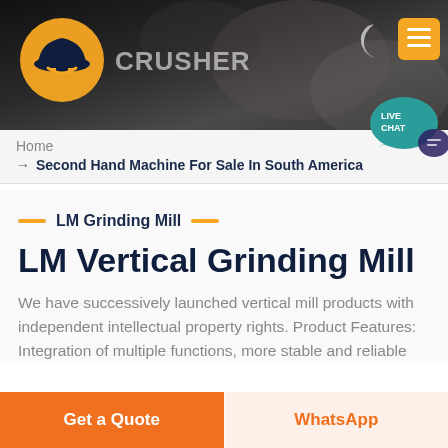[Figure (screenshot): Website header banner with dark background showing mining/crusher machinery imagery, company logo (yellow hard hat icon), CRUSHER text, moon/dark mode icon, and yellow hamburger menu button]
[Figure (other): LIVE CHAT speech bubble icon in teal/dark blue color positioned at top right]
Home
→ Second Hand Machine For Sale In South America
— LM Grinding Mill —
LM Vertical Grinding Mill
We have successively launched vertical mill products with independent intellectual property rights. Product Features: Integration of multiple functions, more stable and reliable
Get a Quote
WhatsApp